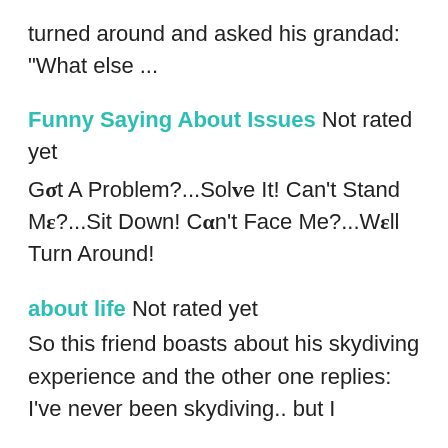turned around and asked his grandad:
"What else ...
Funny Saying About Issues Not rated yet
Got A Problem?...Solve It! Can't Stand Me?...Sit Down! Can't Face Me?...Well Turn Around!
about life Not rated yet
So this friend boasts about his skydiving experience and the other one replies: I've never been skydiving.. but I